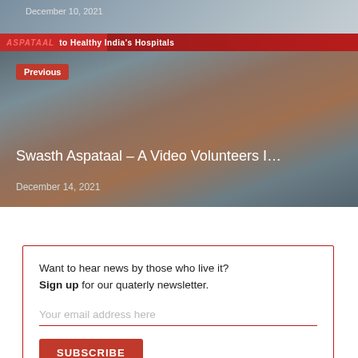[Figure (photo): Top image strip showing partial photo with date December 10, 2021]
[Figure (photo): Banner strip with ASPATAAL branding and text 'to Healthy India's Hospitals']
[Figure (photo): Previous article image block showing a child on a hospital bed with overlay text]
Previous
Swasth Aspataal – A Video Volunteers I…
December 14, 2021
Want to hear news by those who live it? Sign up for our quaterly newsletter.
Your email address here
SUBSCRIBE